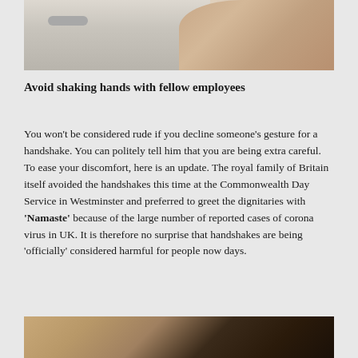[Figure (photo): Photo of hands being washed under a faucet at a sink, with soapy lather visible]
Avoid shaking hands with fellow employees
You won't be considered rude if you decline someone's gesture for a handshake. You can politely tell him that you are being extra careful. To ease your discomfort, here is an update. The royal family of Britain itself avoided the handshakes this time at the Commonwealth Day Service in Westminster and preferred to greet the dignitaries with 'Namaste' because of the large number of reported cases of corona virus in UK. It is therefore no surprise that handshakes are being 'officially' considered harmful for people now days.
[Figure (photo): Partial photo at bottom of page, showing warm-toned scene, cropped]